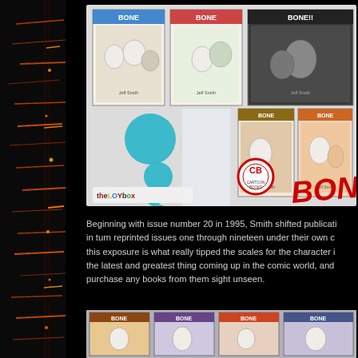[Figure (illustration): Grid of BONE comic book covers (issues 1-5 visible) displayed in a light gray panel with teal decorative bubbles, The Toy Box logo, CB Cartoon Books logo, and BONE logo text in red]
Beginning with issue number 20 in 1995, Smith shifted publication in turn reprinted issues one through nineteen under their own c this exposure is what really tipped the scales for the character i the latest and greatest thing coming up in the comic world, and purchase any books from them sight unseen.
[Figure (illustration): Bottom strip showing row of additional BONE comic book covers in darker tones]